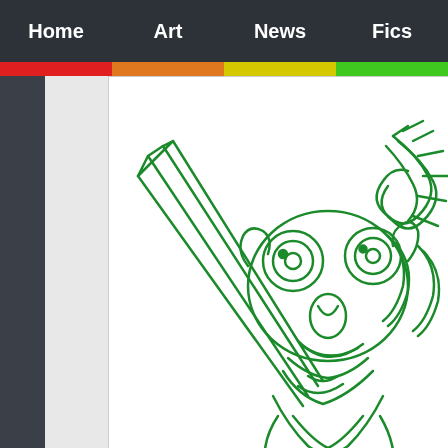Home | Art | News | Fics
[Figure (illustration): Green line art sketch of an animated character (appears to be from Steven Universe fan art) with large eyes, wings, and expressive features drawn in green marker/crayon style on white background]
Source 7
" I HATE EVERYBODY!! " #StevenUniv...